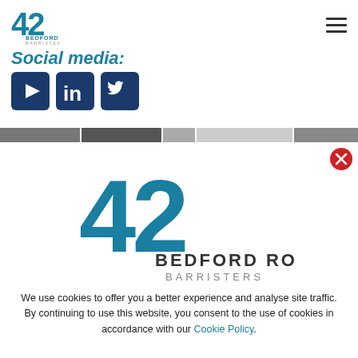[Figure (logo): 42 Bedford Row Barristers logo – small version in top navigation bar]
[Figure (infographic): Hamburger menu icon (three horizontal lines) in top right corner]
Social media:
[Figure (infographic): Three social media icons: YouTube (play button), LinkedIn (in logo), Twitter (bird logo), all on dark navy background rounded squares]
[Figure (photo): Horizontal thumbnail strip of greyscale images spanning full width]
[Figure (logo): Large 42 Bedford Row Barristers logo in modal overlay]
[Figure (infographic): Red circle close button with X in top right of overlay]
We use cookies to offer you a better experience and analyse site traffic.
By continuing to use this website, you consent to the use of cookies in accordance with our Cookie Policy.